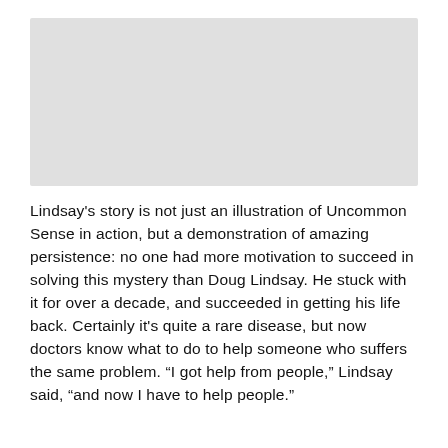[Figure (photo): Placeholder image area (light gray rectangle)]
Lindsay's story is not just an illustration of Uncommon Sense in action, but a demonstration of amazing persistence: no one had more motivation to succeed in solving this mystery than Doug Lindsay. He stuck with it for over a decade, and succeeded in getting his life back. Certainly it's quite a rare disease, but now doctors know what to do to help someone who suffers the same problem. “I got help from people,” Lindsay said, “and now I have to help people.”